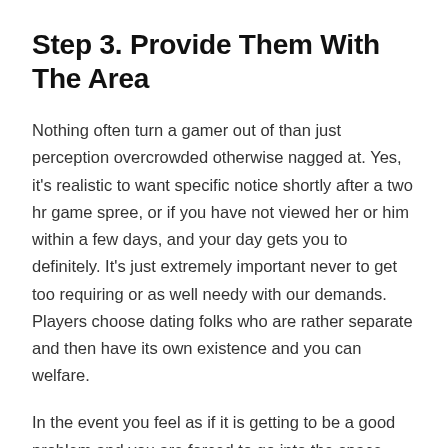Step 3. Provide Them With The Area
Nothing often turn a gamer out of than just perception overcrowded otherwise nagged at. Yes, it's realistic to want specific notice shortly after a two hr game spree, or if you have not viewed her or him within a few days, and your day gets you to definitely. It's just extremely important never to get too requiring or as well needy with our demands. Players choose dating folks who are rather separate and then have its own existence and you can welfare.
In the event you feel as if it is getting to be a good problem and you are forced to go into the space, make an effort to do it softly. Inquire as browse around this site opposed to whining. Give day frames you see when to